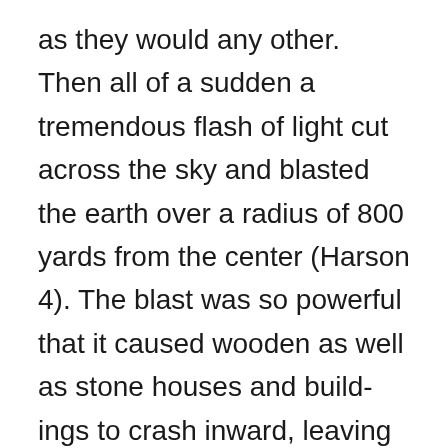as they would any other. Then all of a sudden a tremendous flash of light cut across the sky and blasted the earth over a radius of 800 yards from the center (Harson 4). The blast was so powerful that it caused wooden as well as stone houses and build-ings to crash inward, leaving nothing but ashes of ruins. Most deaths and destruction occurred within a fraction of a second, although fire and rain (which was actually condensed moisture from the cloud of dust and fission fragments)